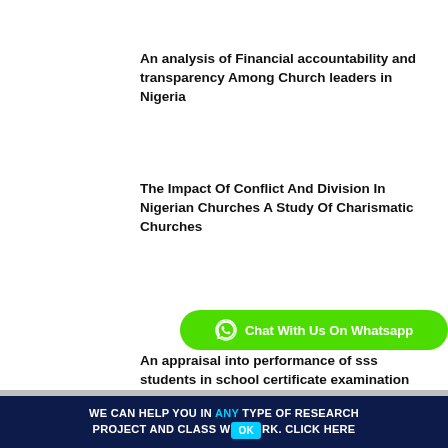An analysis of Financial accountability and transparency Among Church leaders in Nigeria
The Impact Of Conflict And Division In Nigerian Churches A Study Of Charismatic Churches
[Figure (other): Green WhatsApp chat button with text 'Chat With Us On Whatsapp']
An appraisal into performance of sss students in school certificate examination
EFFECTS OF ALCOHOLISM ON CHRISTIAN YOUTHS IN BENUE STATE, NIGERIA
We use cookies to ensure that we give you the best experience on our website. If you continue to use this site we will assume that you are happy with it.
WE CAN HELP YOU IN ANY TYPE OF RESEARCH PROJECT AND CLASS WORK. CLICK HERE